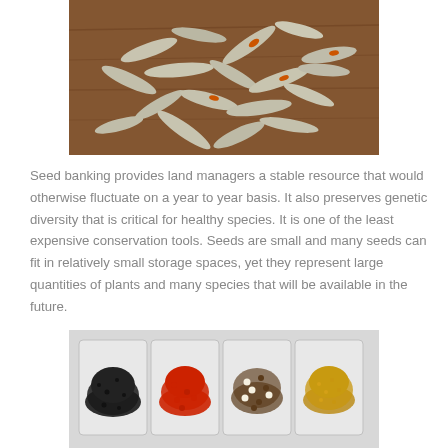[Figure (photo): A pile of dried seed pods scattered on a wooden surface, appearing grayish-white with some orange markings.]
Seed banking provides land managers a stable resource that would otherwise fluctuate on a year to year basis. It also preserves genetic diversity that is critical for healthy species. It is one of the least expensive conservation tools. Seeds are small and many seeds can fit in relatively small storage spaces, yet they represent large quantities of plants and many species that will be available in the future.
[Figure (photo): Four clear plastic trays each containing seeds of different types and colors: black seeds, red seeds, brown and white mixed seeds, and small golden/tan seeds.]